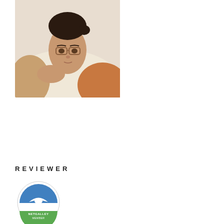[Figure (photo): Portrait photo of a young woman with glasses, wearing a cream/beige sweater, resting her chin on her hand, looking at the camera with a slight smile.]
[Figure (other): WordPress Follow button: teal/blue rounded button with WordPress logo icon and text 'Follow Musings by Michelle']
REVIEWER
[Figure (logo): NetGalley Member badge - circular badge with blue and green colors, featuring a bird/wing logo and text 'NETGALLEY MEMBER']
[Figure (logo): Edelweiss badge - red rounded square with white butterfly/flower logo and a green checkmark badge overlay in corner]